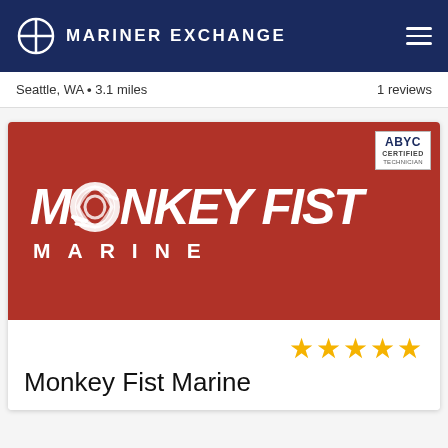MARINER EXCHANGE
Seattle, WA • 3.1 miles   1 reviews
[Figure (logo): Monkey Fist Marine logo on red background with rope knot design and ABYC Certified Technician badge]
★★★★★
Monkey Fist Marine